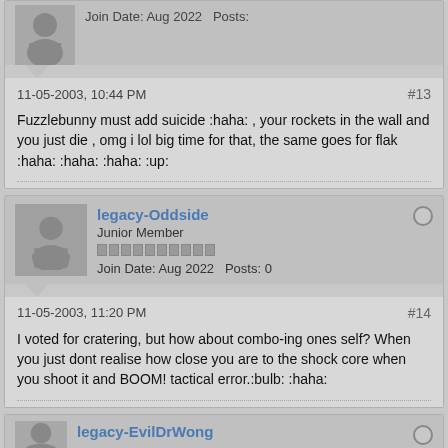[Figure (other): Partial user avatar (top of page, cropped forum post)]
Join Date: Aug 2022   Posts:
11-05-2003, 10:44 PM
#13
Fuzzlebunny must add suicide :haha: , your rockets in the wall and you just die , omg i lol big time for that, the same goes for flak :haha: :haha: :haha: :up:
legacy-Oddside
Junior Member
Join Date: Aug 2022   Posts: 0
11-05-2003, 11:20 PM
#14
I voted for cratering, but how about combo-ing ones self? When you just dont realise how close you are to the shock core when you shoot it and BOOM! tactical error.:bulb: :haha:
legacy-EvilDrWong